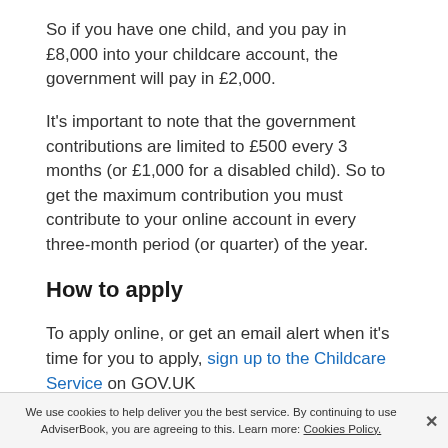So if you have one child, and you pay in £8,000 into your childcare account, the government will pay in £2,000.
It's important to note that the government contributions are limited to £500 every 3 months (or £1,000 for a disabled child). So to get the maximum contribution you must contribute to your online account in every three-month period (or quarter) of the year.
How to apply
To apply online, or get an email alert when it's time for you to apply, sign up to the Childcare Service on GOV.UK
We use cookies to help deliver you the best service. By continuing to use AdviserBook, you are agreeing to this. Learn more: Cookies Policy.